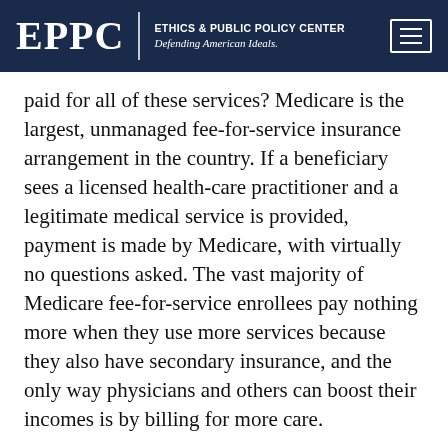EPPC | ETHICS & PUBLIC POLICY CENTER Defending American Ideals.
paid for all of these services? Medicare is the largest, unmanaged fee-for-service insurance arrangement in the country. If a beneficiary sees a licensed health-care practitioner and a legitimate medical service is provided, payment is made by Medicare, with virtually no questions asked. The vast majority of Medicare fee-for-service enrollees pay nothing more when they use more services because they also have secondary insurance, and the only way physicians and others can boost their incomes is by billing for more care.
...partial text continues...